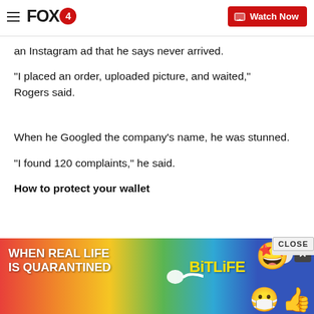FOX4 | Watch Now
an Instagram ad that he says never arrived.
"I placed an order, uploaded picture, and waited," Rogers said.
When he Googled the company's name, he was stunned.
"I found 120 complaints," he said.
How to protect your wallet
[Figure (screenshot): BitLife advertisement banner at the bottom of the page with rainbow gradient background, text 'WHEN REAL LIFE IS QUARANTINED' and BitLife logo with emoji icons]